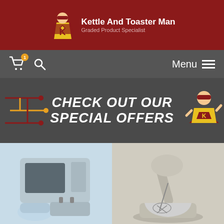Kettle And Toaster Man - Graded Product Specialist
CHECK OUT OUR SPECIAL OFFERS
[Figure (photo): Two kitchen appliances: a retro blue microwave with a kettle and toaster in front]
[Figure (photo): A silver stand mixer with whisk attachment in a bowl]
This website uses cookies to improve your experience. If you continue to use this site, you agree with our use of cookies. Privacy Policy